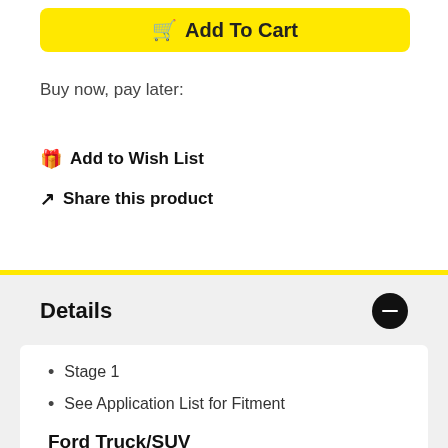[Figure (other): Yellow Add To Cart button with shopping cart icon]
Buy now, pay later:
🎁 Add to Wish List
↗ Share this product
Details
Stage 1
See Application List for Fitment
Ford Truck/SUV